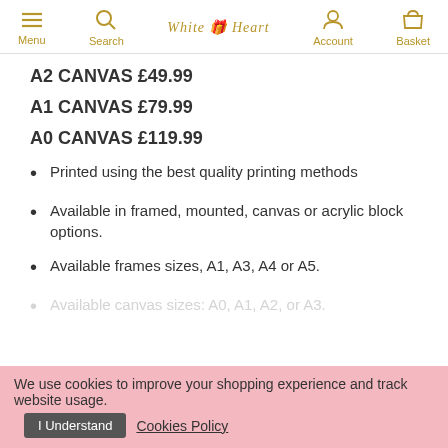Menu | Search | White Heart | Account | Basket
A2 CANVAS £49.99
A1 CANVAS £79.99
A0 CANVAS £119.99
Printed using the best quality printing methods
Available in framed, mounted, canvas or acrylic block options.
Available frames sizes, A1, A3, A4 or A5.
Available canvas sizes: A0, A1, A2, or A3.
MOUNTED - Comes in a high quality cardboard mount and
We use cookies to improve your shopping experience and track website usage. I Understand Cookies Policy